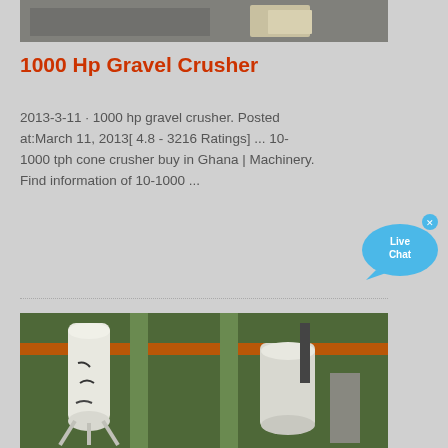[Figure (photo): Top cropped industrial/warehouse interior photo showing machinery or equipment]
1000 Hp Gravel Crusher
2013-3-11 · 1000 hp gravel crusher. Posted at:March 11, 2013[ 4.8 - 3216 Ratings] ... 10-1000 tph cone crusher buy in Ghana | Machinery. Find information of 10-1000 ...
[Figure (photo): Industrial facility interior showing white cylindrical silos/tanks on a metal frame structure with green columns and orange beams]
[Figure (other): Live Chat button/widget — blue speech bubble with 'Live Chat' text and an X close button]